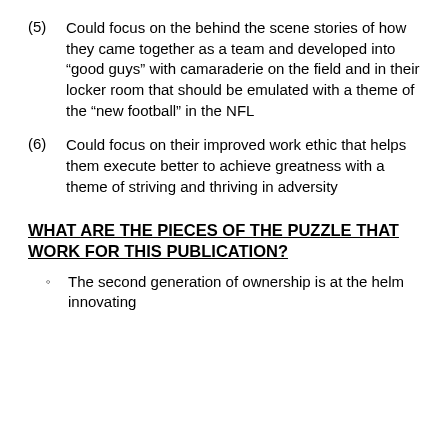(5)   Could focus on the behind the scene stories of how they came together as a team and developed into “good guys” with camaraderie on the field and in their locker room that should be emulated with a theme of the “new football” in the NFL
(6)   Could focus on their improved work ethic that helps them execute better to achieve greatness with a theme of striving and thriving in adversity
WHAT ARE THE PIECES OF THE PUZZLE THAT WORK FOR THIS PUBLICATION?
The second generation of ownership is at the helm innovating